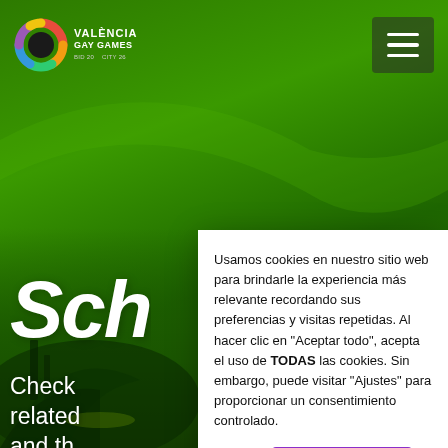[Figure (screenshot): València Gay Games website screenshot with green background showing architectural imagery of Valencia. Header with logo and hamburger menu. Hero text 'Sch' (Schedule) partially visible and 'Check related and th that yo miss out on' text. Cookie consent dialog overlay in white box on right side.]
Usamos cookies en nuestro sitio web para brindarle la experiencia más relevante recordando sus preferencias y visitas repetidas. Al hacer clic en "Aceptar todo", acepta el uso de TODAS las cookies. Sin embargo, puede visitar "Ajustes" para proporcionar un consentimiento controlado.
Ajustes
Aceptar cookies